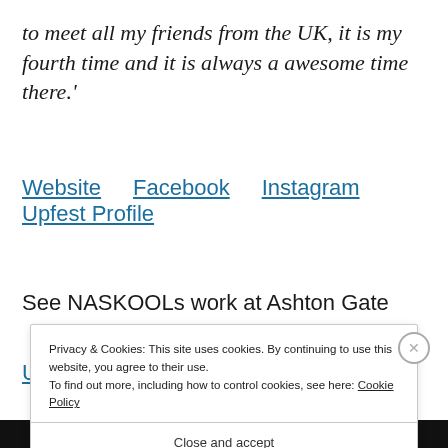to meet all my friends from the UK, it is my fourth time and it is always a awesome time there.'
Website    Facebook    Instagram    Upfest Profile
See NASKOOLs work at Ashton Gate
Privacy & Cookies: This site uses cookies. By continuing to use this website, you agree to their use.
To find out more, including how to control cookies, see here: Cookie Policy
Close and accept